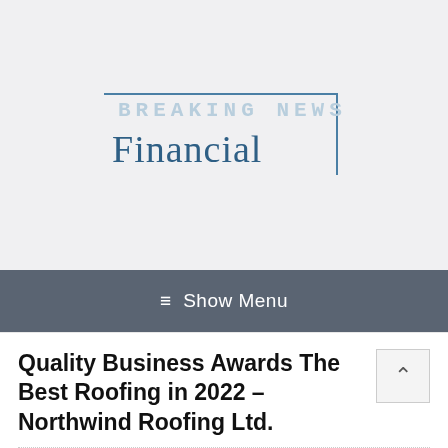[Figure (logo): Breaking News Financial logo with rectangular border, 'BREAKING NEWS' in monospace above 'Financial' in serif font, steel blue color scheme]
≡  Show Menu
Quality Business Awards The Best Roofing in 2022 – Northwind Roofing Ltd.
[Figure (other): Back to top arrow button (^) in a small square box, top right of article area]